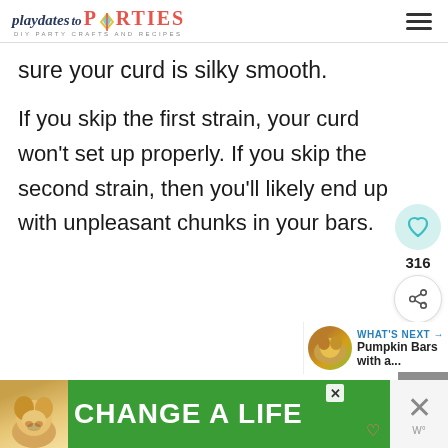playdates to PARTIES DIY PARTY CRAFTS AND RECIPES
sure your curd is silky smooth.
If you skip the first strain, your curd won't set up properly. If you skip the second strain, then you'll likely end up with unpleasant chunks in your bars.
[Figure (screenshot): Social sharing sidebar with heart icon showing 316 likes and share button]
[Figure (screenshot): What's Next widget showing Pumpkin Bars with a... and a thumbnail image]
[Figure (screenshot): Green advertisement banner reading CHANGE A LIFE with a dog image]